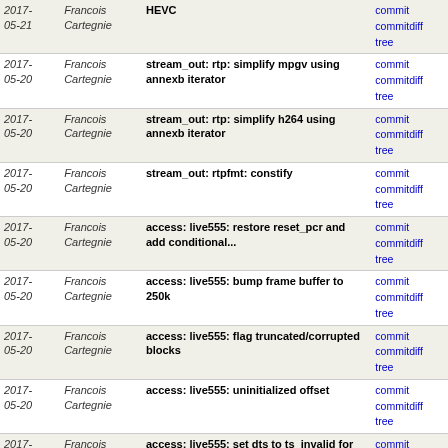| Date | Author | Commit Message | Links |
| --- | --- | --- | --- |
| 2017-05-21 | Francois Cartegnie | HEVC | commit | commitdiff | tree |
| 2017-05-20 | Francois Cartegnie | stream_out: rtp: simplify mpgv using annexb iterator | commit | commitdiff | tree |
| 2017-05-20 | Francois Cartegnie | stream_out: rtp: simplify h264 using annexb iterator | commit | commitdiff | tree |
| 2017-05-20 | Francois Cartegnie | stream_out: rtpfmt: constify | commit | commitdiff | tree |
| 2017-05-20 | Francois Cartegnie | access: live555: restore reset_pcr and add conditional... | commit | commitdiff | tree |
| 2017-05-20 | Francois Cartegnie | access: live555: bump frame buffer to 250k | commit | commitdiff | tree |
| 2017-05-20 | Francois Cartegnie | access: live555: flag truncated/corrupted blocks | commit | commitdiff | tree |
| 2017-05-20 | Francois Cartegnie | access: live555: uninitialized offset | commit | commitdiff | tree |
| 2017-05-20 | Francois Cartegnie | access: live555: set dts to ts_invalid for video | commit | commitdiff | tree |
| 2017-05-20 | Francois Cartegnie | packetizer: hevc: don't increment invalid dts | commit | commitdiff | tree |
| 2017-05-20 | Francois Cartegnie | packetizer: mpegvideo: don't increment invalid dts | commit | commitdiff | tree |
| 2017-05-20 | Francois Cartegnie | packetizer: h264: don't increment missing dts | commit | commitdiff | tree |
| 2017-05-20 | Francois Cartegnie | access: live555: don't set invalid pcr | commit | commitdiff | tree |
| 2017-05-20 | Francois Cartegnie | demux: mp4: fix incorrect free | commit | commitdiff | tree |